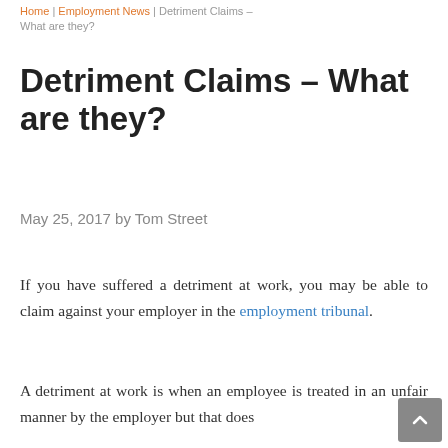Home | Employment News | Detriment Claims – What are they?
Detriment Claims – What are they?
May 25, 2017 by Tom Street
If you have suffered a detriment at work, you may be able to claim against your employer in the employment tribunal.
A detriment at work is when an employee is treated in an unfair manner by the employer but that does